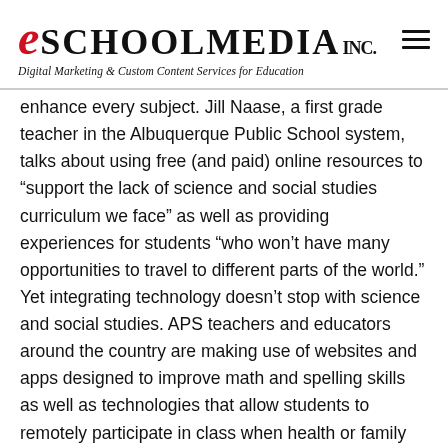eSchool Media Inc. — Digital Marketing & Custom Content Services for Education
enhance every subject. Jill Naase, a first grade teacher in the Albuquerque Public School system, talks about using free (and paid) online resources to “support the lack of science and social studies curriculum we face” as well as providing experiences for students “who won’t have many opportunities to travel to different parts of the world.” Yet integrating technology doesn’t stop with science and social studies. APS teachers and educators around the country are making use of websites and apps designed to improve math and spelling skills as well as technologies that allow students to remotely participate in class when health or family needs require extended absences.
Innovative tech implementations in the classroom
Most educators recognize that teaching tech as an isolated